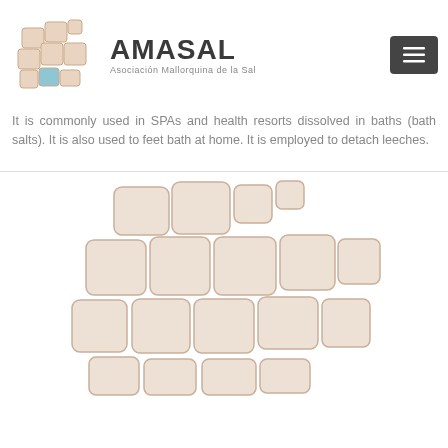[Figure (logo): AMASAL logo with stylized map of Mallorca divided into grid sections, some colored in light blue and salmon/beige tones]
AMASAL
Asociación Mallorquina de la Sal
It is commonly used in SPAs and health resorts dissolved in baths (bath salts). It is also used to feet bath at home. It is employed to detach leeches.
[Figure (illustration): Large stylized map/logo of Mallorca island divided into grid sections in beige/cream tones, used as AMASAL brand illustration]